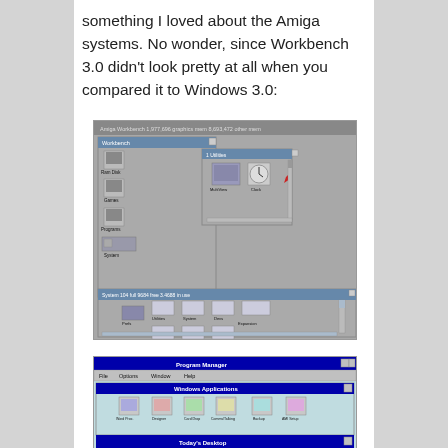something I loved about the Amiga systems. No wonder, since Workbench 3.0 didn't look pretty at all when you compared it to Windows 3.0:
[Figure (screenshot): Screenshot of Amiga Workbench 3.0 desktop showing the Workbench window with disk icons (Ram Disk, Games, Programs, System) on the left, a Utilities sub-window with MultiView and Clock icons, and a System drawer window at the bottom showing Utilities, System, Devs, Prefs, Tools, WBStartup, Storage, Expansion icons.]
[Figure (screenshot): Partial screenshot of Windows 3.0 Program Manager showing Windows Applications group with various program icons, and Today's Desktop group bar at the bottom.]